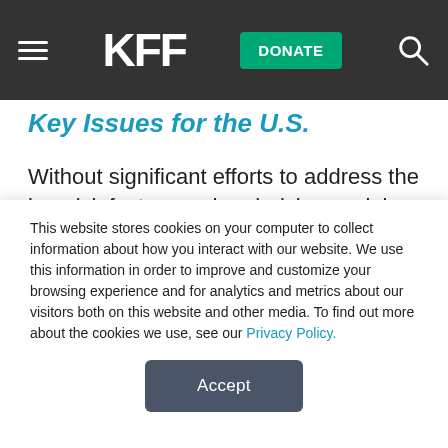KFF | DONATE
Key Issues for the U.S.
Without significant efforts to address the key risk factors and underlying social determinants driving NCDs, the economic and social toll of burgeoning numbers of people affected by NCDs in developing countries will continue to grow. Many public health experts stress the importance of early intervention in efforts to
This website stores cookies on your computer to collect information about how you interact with our website. We use this information in order to improve and customize your browsing experience and for analytics and metrics about our visitors both on this website and other media. To find out more about the cookies we use, see our Privacy Policy.
Accept